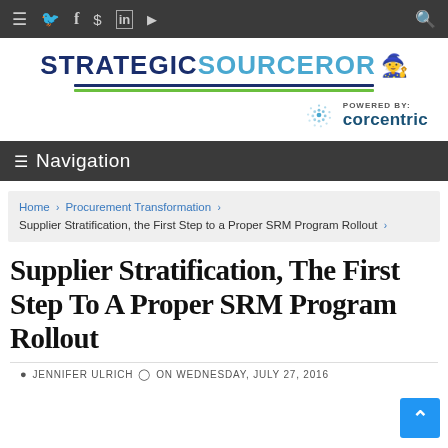Navigation icons bar (hamburger, twitter, facebook, dollar, linkedin, youtube, search)
[Figure (logo): STRATEGICSOURCEROR logo with wizard hat icon, blue and cyan text, blue and green underlines, powered by corcentric badge with dotted circle C logo]
≡ Navigation
Home › Procurement Transformation › Supplier Stratification, the First Step to a Proper SRM Program Rollout ›
Supplier Stratification, The First Step To A Proper SRM Program Rollout
JENNIFER ULRICH  ON WEDNESDAY, JULY 27, 2016